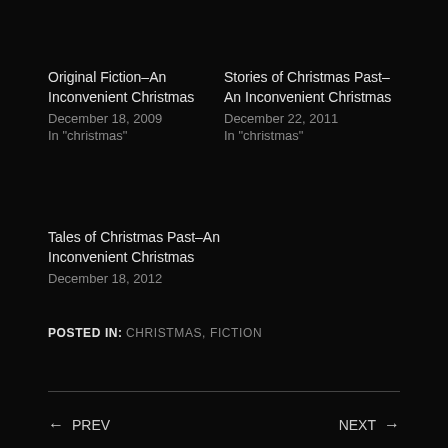Original Fiction–An Inconvenient Christmas
December 18, 2009
In "christmas"
Stories of Christmas Past–An Inconvenient Christmas
December 22, 2011
In "christmas"
Tales of Christmas Past–An Inconvenient Christmas
December 18, 2012
POSTED IN:  CHRISTMAS, FICTION
← PREV      NEXT →